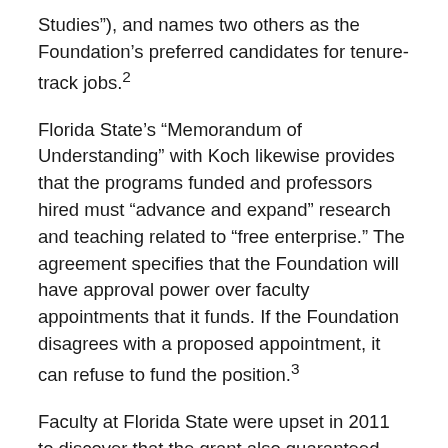Studies”), and names two others as the Foundation’s preferred candidates for tenure-track jobs.2
Florida State’s “Memorandum of Understanding” with Koch likewise provides that the programs funded and professors hired must “advance and expand” research and teaching related to “free enterprise.” The agreement specifies that the Foundation will have approval power over faculty appointments that it funds. If the Foundation disagrees with a proposed appointment, it can refuse to fund the position.3
Faculty at Florida State were upset in 2011 to discover that the grant also guaranteed mandatory reading of Ayn Rand’s writings in some courses.4
The Utah State contract mandates that Koch-funded, tenure-track professors follow free-market ideology. Utah State also has a “Koch Scholars” program that pays